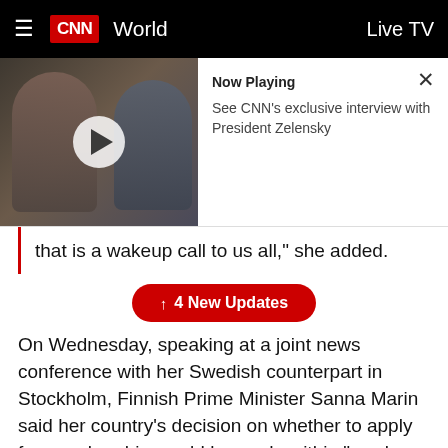CNN World   Live TV
[Figure (screenshot): Video thumbnail showing two people, with a play button overlay. Right panel shows 'Now Playing' label, description 'See CNN’s exclusive interview with President Zelensky', and a close X button.]
that is a wakeup call to us all,” she added.
↑ 4 New Updates
On Wednesday, speaking at a joint news conference with her Swedish counterpart in Stockholm, Finnish Prime Minister Sanna Marin said her country’s decision on whether to apply for membership would be made within “weeks, not within months.”
“We need to have a view on the future and we are using this time to analyze and also build common views on the future when it comes to security,” Marin said. “I won’t give any kind of timetable when we will make our decisions, but I think it will happen quite fast — within